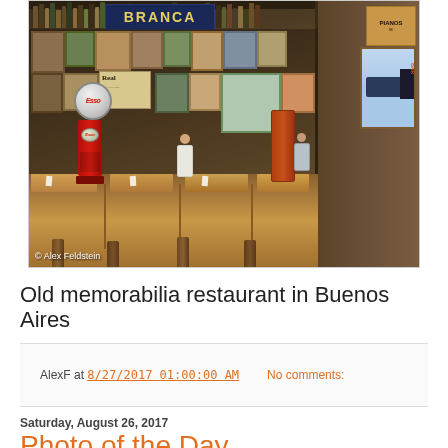[Figure (photo): Interior of an old memorabilia restaurant in Buenos Aires. The walls are covered with vintage posters, framed photographs, and collectibles. A large 'BRANCA' sign hangs above the bar shelves lined with bottles. A vintage red Esso gas pump stands in the middle of the dining area. A staff member in white leans over the wooden tables, and a man sits alone at a table near a window. The photo is credited to Alex Feldstein.]
© Alex Feldstein
Old memorabilia restaurant in Buenos Aires
AlexF at 8/27/2017 01:00:00 AM    No comments:
Saturday, August 26, 2017
Photo of the Day